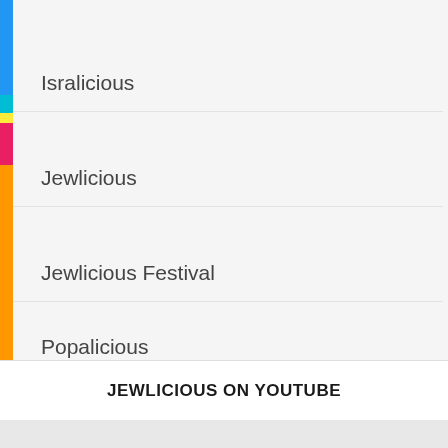Isralicious
Jewlicious
Jewlicious Festival
Popalicious
JEWLICIOUS ON YOUTUBE
[Figure (other): YouTube video embed area, blank/grey]
Shop Now
[Figure (photo): Photo of a woman with dark hair against a blue background]
[Figure (photo): Book or movie cover titled 'The Jewish...' showing a person standing on a road]